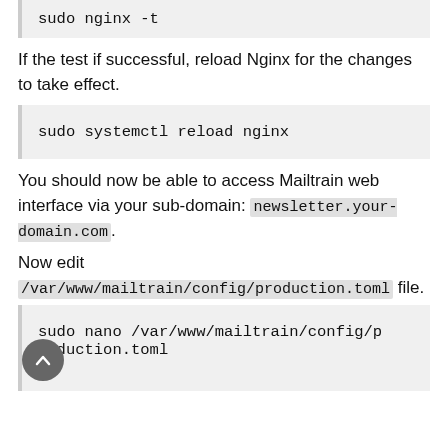sudo nginx -t
If the test if successful, reload Nginx for the changes to take effect.
sudo systemctl reload nginx
You should now be able to access Mailtrain web interface via your sub-domain: newsletter.your-domain.com.
Now edit /var/www/mailtrain/config/production.toml file.
sudo nano /var/www/mailtrain/config/production.toml